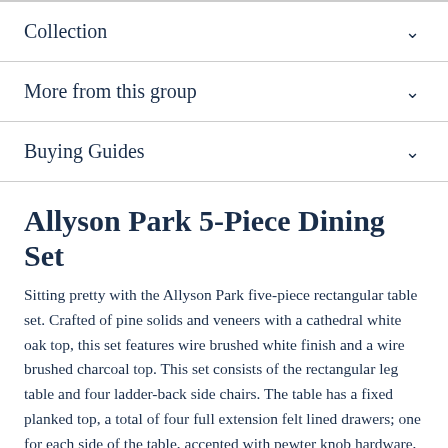Collection
More from this group
Buying Guides
Allyson Park 5-Piece Dining Set
Sitting pretty with the Allyson Park five-piece rectangular table set. Crafted of pine solids and veneers with a cathedral white oak top, this set features wire brushed white finish and a wire brushed charcoal top. This set consists of the rectangular leg table and four ladder-back side chairs. The table has a fixed planked top, a total of four full extension felt lined drawers; one for each side of the table, accented with pewter knob hardware, bead molding, and squared tapered legs. This dining set is perfect for creating a classic look while maintaining a casual feel.  The ladder-back side